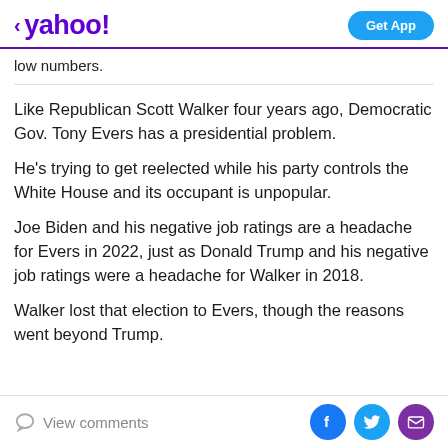< yahoo!  Get App
low numbers.
Like Republican Scott Walker four years ago, Democratic Gov. Tony Evers has a presidential problem.
He's trying to get reelected while his party controls the White House and its occupant is unpopular.
Joe Biden and his negative job ratings are a headache for Evers in 2022, just as Donald Trump and his negative job ratings were a headache for Walker in 2018.
Walker lost that election to Evers, though the reasons went beyond Trump.
View comments